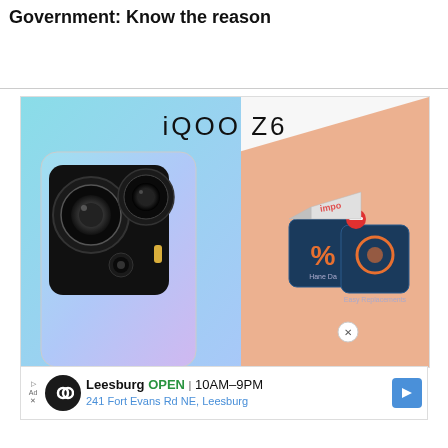YouTube channels blocked by Indian Government: Know the reason
[Figure (photo): iQOO Z6 smartphone promotional image showing back of phone with dual camera setup on blue gradient background, with Amazon sale icons overlay showing discount and easy replacements badges]
Leesburg OPEN 10AM–9PM 241 Fort Evans Rd NE, Leesburg